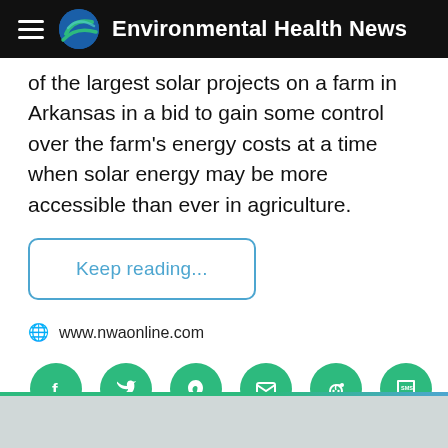Environmental Health News
of the largest solar projects on a farm in Arkansas in a bid to gain some control over the farm's energy costs at a time when solar energy may be more accessible than ever in agriculture.
Keep reading...
www.nwaonline.com
[Figure (other): Social share icons row: Facebook, Twitter, Pinterest, Email, Reddit, SMS — all green circles with white icons]
[Figure (photo): Partial footer image strip at bottom of page, appears to show an outdoor/farm scene]